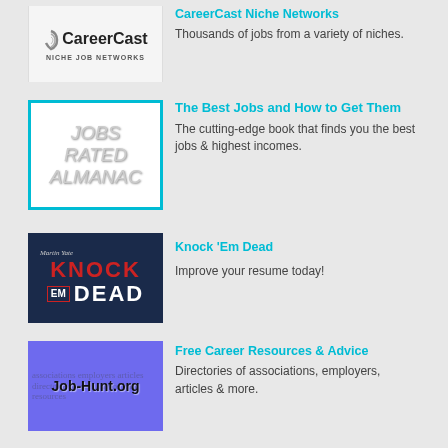[Figure (logo): CareerCast Niche Job Networks logo]
CareerCast Niche Networks
Thousands of jobs from a variety of niches.
[Figure (logo): Jobs Rated Almanac logo]
The Best Jobs and How to Get Them
The cutting-edge book that finds you the best jobs & highest incomes.
[Figure (logo): Knock Em Dead by Martin Yate logo]
Knock 'Em Dead
Improve your resume today!
[Figure (logo): Job-Hunt.org logo]
Free Career Resources & Advice
Directories of associations, employers, articles & more.